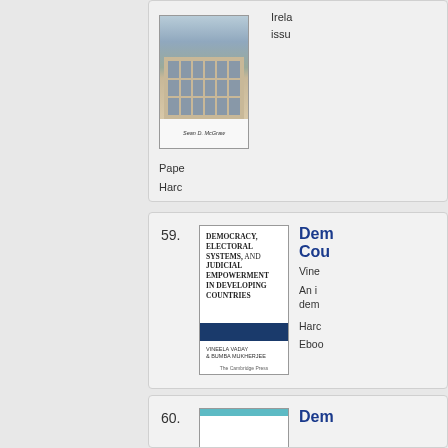[Figure (photo): Book cover showing Irish parliament building (Leinster House) photo with author name Sean D. McGraw]
Irela
issue
Pape
Harc
Eboo
59. Democracy, Electoral Systems, and Judicial Empowerment in Developing Countries — Vineela Vaday & Bumba Mukherjee
[Figure (photo): Book cover for Democracy, Electoral Systems, and Judicial Empowerment in Developing Countries by Vineela Vaday & Bumba Mukherjee, Cambridge University Press]
Dem
Cou
Vine

An i
dem
Harc
Eboo
60. Dem
[Figure (photo): Partial book cover with teal/turquoise colored stripes]